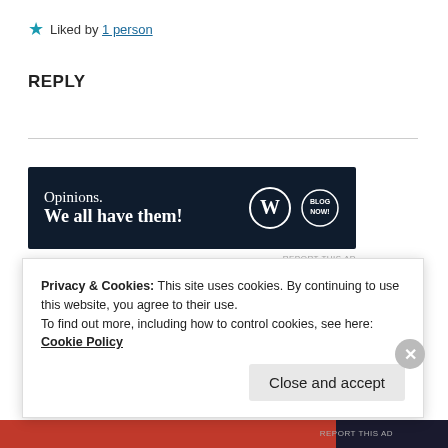★ Liked by 1 person
REPLY
[Figure (screenshot): Advertisement banner: dark navy background with text 'Opinions. We all have them!' and WordPress and Blog Now logos]
JESSICA
14 May 2019 at 11:53 am
Privacy & Cookies: This site uses cookies. By continuing to use this website, you agree to their use.
To find out more, including how to control cookies, see here: Cookie Policy